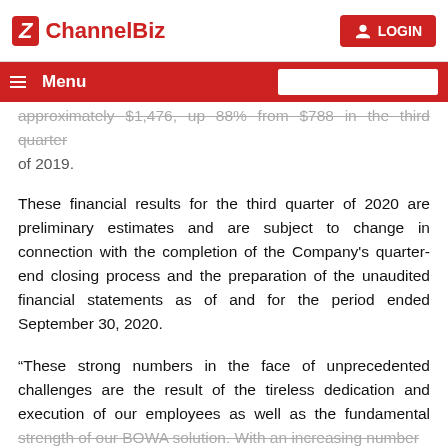ChannelBiz — LOGIN
approximately $1,476, up 88% from $788 in the third quarter of 2019.
These financial results for the third quarter of 2020 are preliminary estimates and are subject to change in connection with the completion of the Company's quarter-end closing process and the preparation of the unaudited financial statements as of and for the period ended September 30, 2020.
“These strong numbers in the face of unprecedented challenges are the result of the tireless dedication and execution of our employees as well as the fundamental strength of our BOWA solution. With an increasing number